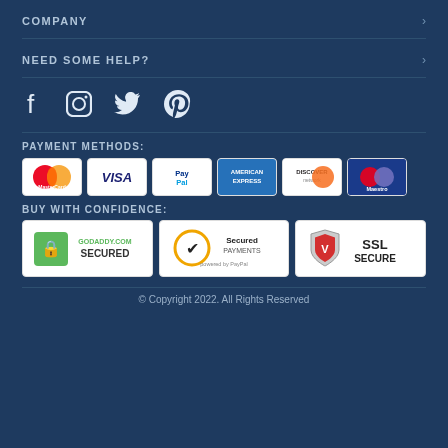COMPANY
NEED SOME HELP?
[Figure (infographic): Social media icons: Facebook, Instagram, Twitter, Pinterest]
PAYMENT METHODS:
[Figure (infographic): Payment method logos: MasterCard, Visa, PayPal, American Express, Discover, Maestro]
BUY WITH CONFIDENCE:
[Figure (infographic): Security badges: GoDaddy.com Secured, Secured Payments powered by PayPal, SSL Secure]
© Copyright 2022. All Rights Reserved